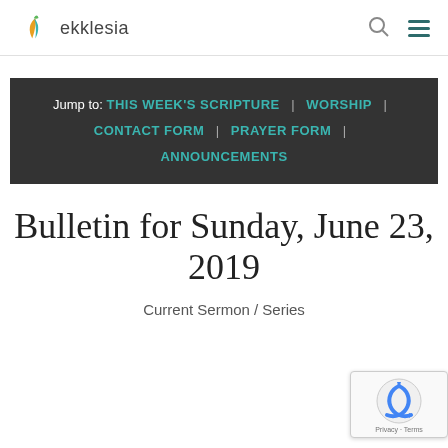ekklesia
Jump to: THIS WEEK'S SCRIPTURE | WORSHIP | CONTACT FORM | PRAYER FORM | ANNOUNCEMENTS
Bulletin for Sunday, June 23, 2019
Current Sermon / Series